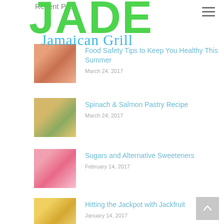Recent Post
[Figure (logo): JADE Jamaican Grill logo with large green JADE text and blue cursive 'Jamaican Grill' subtitle]
Food Safety Tips to Keep You Healthy This Summer — March 24, 2017
Spinach & Salmon Pastry Recipe — March 24, 2017
Sugars and Alternative Sweeteners — February 14, 2017
Hitting the Jackpot with Jackfruit — January 14, 2017